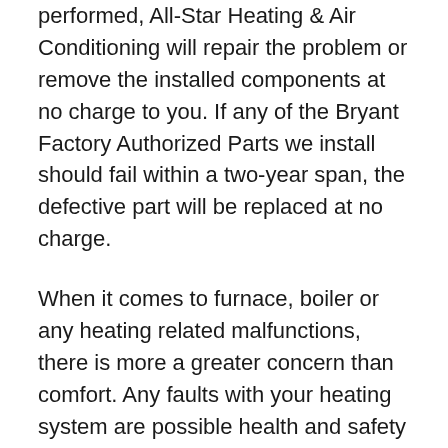performed, All-Star Heating & Air Conditioning will repair the problem or remove the installed components at no charge to you. If any of the Bryant Factory Authorized Parts we install should fail within a two-year span, the defective part will be replaced at no charge.
When it comes to furnace, boiler or any heating related malfunctions, there is more a greater concern than comfort. Any faults with your heating system are possible health and safety risks. Don't take a gamble with your home or family. Problems don't repair themselves. Your furnace requires concentrated attention from trained professionals. With the potential of fire, leaking carbon monoxide, formaldehyde, and